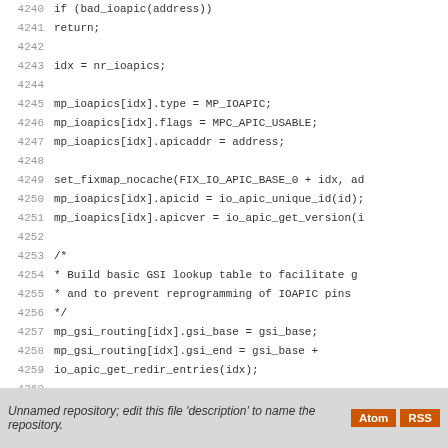[Figure (screenshot): Source code listing showing C code lines 4240-4267 with line numbers on the left and code on the right, monospace font on white background.]
Unnamed repository; edit this file 'description' to name the repository.